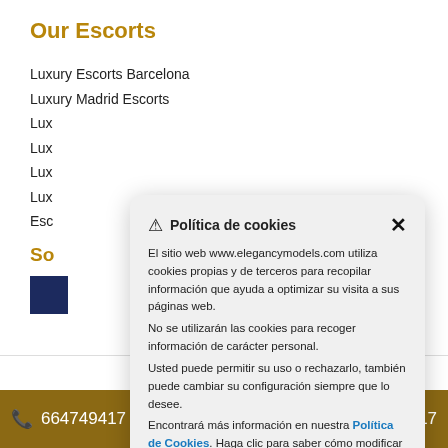Our Escorts
Luxury Escorts Barcelona
Luxury Madrid Escorts
Lux...
Lux...
Lux...
Lux...
Esc...
So...
[Figure (screenshot): Cookie consent modal popup in Spanish on website www.elegancymodels.com. Title: Política de cookies. Body text describes cookie usage policy with links to Política de Cookies.]
📞 664749417   Contáctanos   💬 664749417